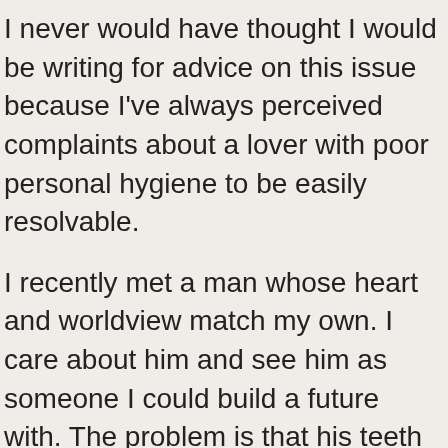I never would have thought I would be writing for advice on this issue because I've always perceived complaints about a lover with poor personal hygiene to be easily resolvable.
I recently met a man whose heart and worldview match my own. I care about him and see him as someone I could build a future with. The problem is that his teeth are in a really bad condition and he often looks greasy and uncared for. I find this totally off-putting, not just for aesthetic reasons but because to me its a sign of somebody who doesn't care for himself. If he doesn't take care of himself how can I trust and respect him let alone be physically attracted to him. I've tried to rationalize and ignore this but it annoys me more and more but I don't know how to address it without hurting